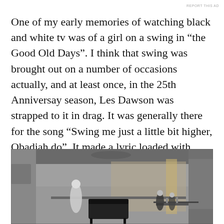REPORT THIS AD
One of my early memories of watching black and white tv was of a girl on a swing in “the Good Old Days”. I think that swing was brought out on a number of occasions actually, and at least once, in the 25th Anniversay season, Les Dawson was strapped to it in drag. It was generally there for the song “Swing me just a little bit higher, Obadiah do”. It made a lyric loaded with innuendo seem homely and very jolly.
[Figure (photo): Black and white photograph of a variety show theatre interior. A woman in a light dress stands on stage left, with a grand piano visible. Several men in formal attire are seated at a table on stage right. The ornate theatre has decorated walls and balconies.]